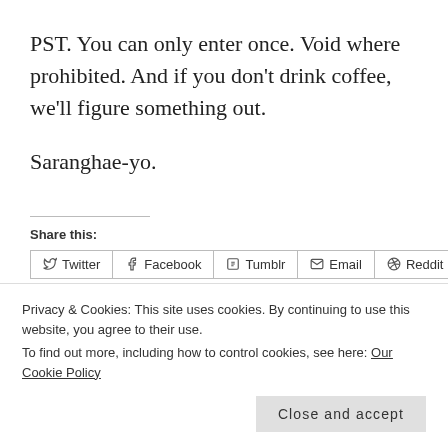PST. You can only enter once. Void where prohibited. And if you don't drink coffee, we'll figure something out.
Saranghae-yo.
Share this:
Twitter | Facebook | Tumblr | Email | Reddit
Privacy & Cookies: This site uses cookies. By continuing to use this website, you agree to their use.
To find out more, including how to control cookies, see here: Our Cookie Policy
Close and accept